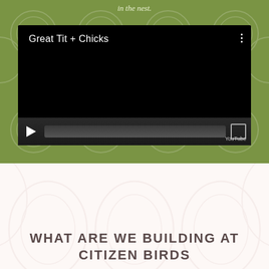in the nest.
[Figure (screenshot): Embedded video player with title 'Great Tit + Chicks' on black background with playback controls and YouTube branding]
WHAT ARE WE BUILDING AT CITIZEN BIRDS